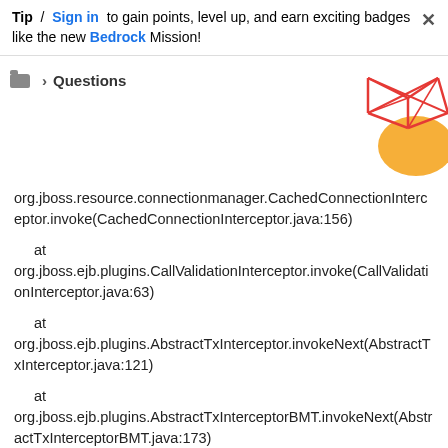Tip / Sign in to gain points, level up, and earn exciting badges like the new Bedrock Mission!
Questions
[Figure (illustration): Decorative geometric graphic with red lines forming triangles/polygons and an orange shape, used as site branding decoration in the top-right corner.]
org.jboss.resource.connectionmanager.CachedConnectionInterceptor.invoke(CachedConnectionInterceptor.java:156)
at org.jboss.ejb.plugins.CallValidationInterceptor.invoke(CallValidationInterceptor.java:63)
at org.jboss.ejb.plugins.AbstractTxInterceptor.invokeNext(AbstractTxInterceptor.java:121)
at org.jboss.ejb.plugins.AbstractTxInterceptorBMT.invokeNext(AbstractTxInterceptorBMT.java:173)
at org.jboss.ejb.plugins.TxInterceptorBMT.invoke(TxInterceptorBMT.java:77)